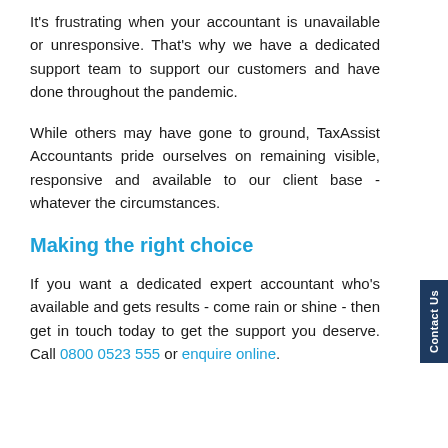It's frustrating when your accountant is unavailable or unresponsive. That's why we have a dedicated support team to support our customers and have done throughout the pandemic.
While others may have gone to ground, TaxAssist Accountants pride ourselves on remaining visible, responsive and available to our client base - whatever the circumstances.
Making the right choice
If you want a dedicated expert accountant who's available and gets results - come rain or shine - then get in touch today to get the support you deserve. Call 0800 0523 555 or enquire online.